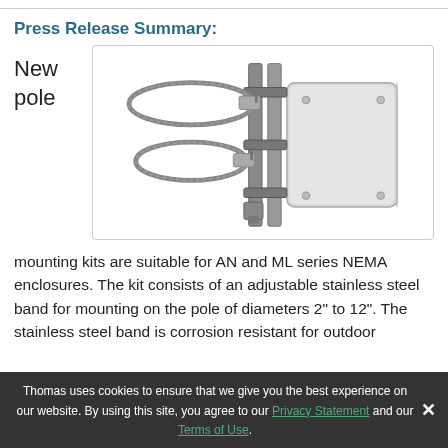Press Release Summary:
New pole
[Figure (photo): Pole mounting kit for NEMA enclosures, showing adjustable stainless steel band clamps and mounting rails attached to a gray enclosure box.]
mounting kits are suitable for AN and ML series NEMA enclosures. The kit consists of an adjustable stainless steel band for mounting on the pole of diameters 2" to 12". The stainless steel band is corrosion resistant for outdoor
Thomas uses cookies to ensure that we give you the best experience on our website. By using this site, you agree to our Privacy Statement and our Terms of Use.